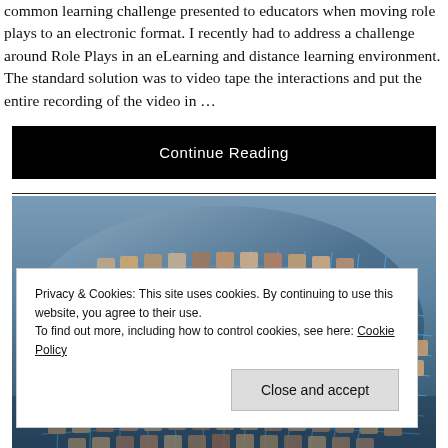common learning challenge presented to educators when moving role plays to an electronic format. I recently had to address a challenge around Role Plays in an eLearning and distance learning environment. The standard solution was to video tape the interactions and put the entire recording of the video in …
Continue Reading
[Figure (photo): A spherical mosaic of human faces arranged in a grid pattern, creating a globe-like structure with blue grid lines, showing diverse people's portraits in a collage format.]
Privacy & Cookies: This site uses cookies. By continuing to use this website, you agree to their use.
To find out more, including how to control cookies, see here: Cookie Policy
Close and accept